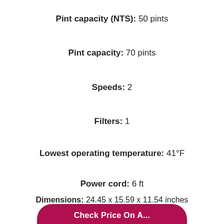Pint capacity (NTS): 50 pints
Pint capacity: 70 pints
Speeds: 2
Filters: 1
Lowest operating temperature: 41°F
Power cord: 6 ft
Dimensions: 24.45 x 15.59 x 11.54 inches
Weight: 46.08 lbs